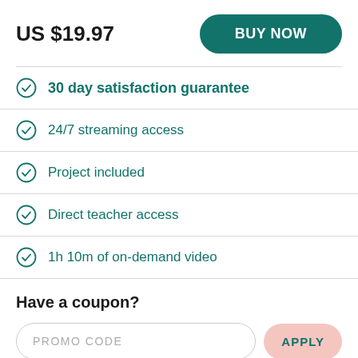US $19.97
BUY NOW
30 day satisfaction guarantee
24/7 streaming access
Project included
Direct teacher access
1h 10m of on-demand video
Have a coupon?
PROMO CODE
APPLY